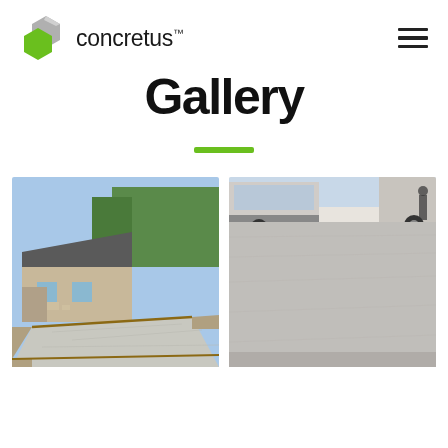concretus™ [logo with green hexagons] [hamburger menu]
Gallery
[Figure (illustration): Green horizontal bar divider]
[Figure (photo): Freshly poured concrete pathway in front of a residential house with gravel borders and garden]
[Figure (photo): Smooth freshly poured concrete driveway surface with vehicles parked alongside a building]